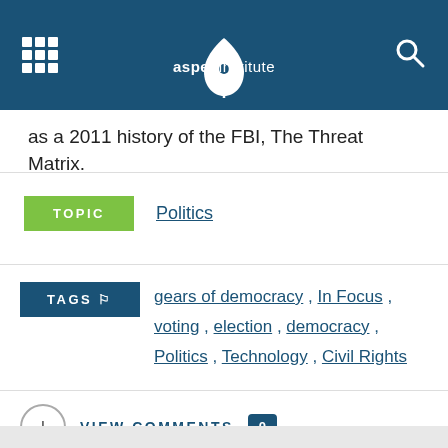[Figure (logo): Aspen Institute header with grid icon on left, Aspen Institute leaf logo in center, and search icon on right, on dark blue background]
as a 2011 history of the FBI, The Threat Matrix.
TOPIC  Politics
TAGS  gears of democracy , In Focus , voting , election , democracy , Politics , Technology , Civil Rights
VIEW COMMENTS 0